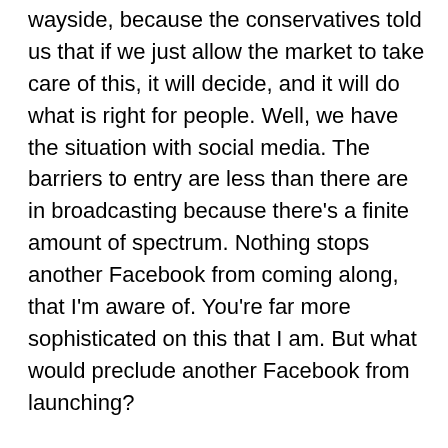wayside, because the conservatives told us that if we just allow the market to take care of this, it will decide, and it will do what is right for people. Well, we have the situation with social media. The barriers to entry are less than there are in broadcasting because there's a finite amount of spectrum. Nothing stops another Facebook from coming along, that I'm aware of. You're far more sophisticated on this that I am. But what would preclude another Facebook from launching?
Andy 27:17
The example would be that TikTok has come up and been wildly popular and is stealing viewers from Facebook to go on to TikTok, so nothing precludes it at all.